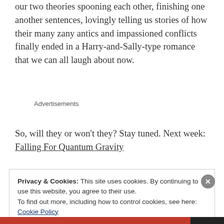our two theories spooning each other, finishing one another sentences, lovingly telling us stories of how their many zany antics and impassioned conflicts finally ended in a Harry-and-Sally-type romance that we can all laugh about now.
Advertisements
So, will they or won't they? Stay tuned. Next week: Falling For Quantum Gravity
Privacy & Cookies: This site uses cookies. By continuing to use this website, you agree to their use.
To find out more, including how to control cookies, see here: Cookie Policy
Close and accept